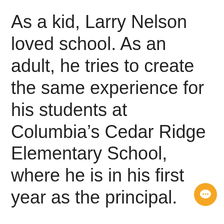As a kid, Larry Nelson loved school. As an adult, he tries to create the same experience for his students at Columbia’s Cedar Ridge Elementary School, where he is in his first year as the principal.
Nelson’s morning announcements over the intercom include a twisted take on what will be served in the cafeteria.
“I’ll say things like, ‘For lunch today, we’re going to be serving caterpillar casserole,’ ” Nelson said. “I try to